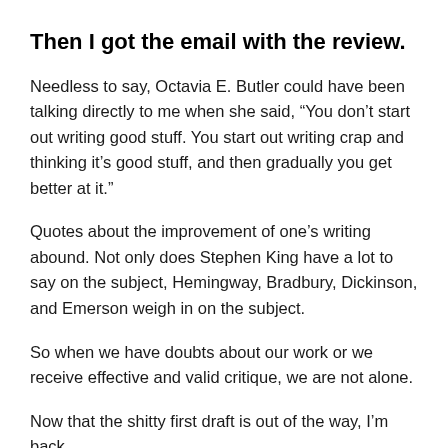Then I got the email with the review.
Needless to say, Octavia E. Butler could have been talking directly to me when she said, “You don’t start out writing good stuff. You start out writing crap and thinking it’s good stuff, and then gradually you get better at it.”
Quotes about the improvement of one’s writing abound. Not only does Stephen King have a lot to say on the subject, Hemingway, Bradbury, Dickinson, and Emerson weigh in on the subject.
So when we have doubts about our work or we receive effective and valid critique, we are not alone.
Now that the shitty first draft is out of the way, I’m back